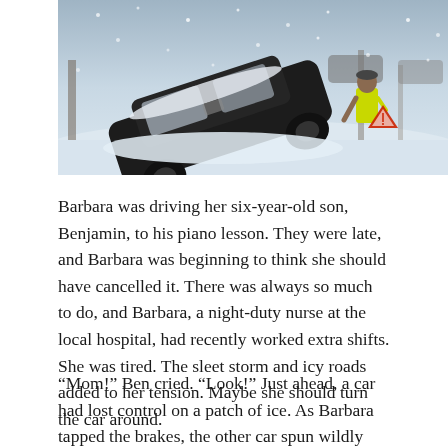[Figure (photo): A car overturned and crashed on a snowy, icy road during a sleet storm. A person in a yellow safety vest is placing a warning triangle near the scene. Snow is falling heavily.]
Barbara was driving her six-year-old son, Benjamin, to his piano lesson. They were late, and Barbara was beginning to think she should have cancelled it. There was always so much to do, and Barbara, a night-duty nurse at the local hospital, had recently worked extra shifts. She was tired. The sleet storm and icy roads added to her tension. Maybe she should turn the car around.
“Mom!” Ben cried. “Look!” Just ahead, a car had lost control on a patch of ice. As Barbara tapped the brakes, the other car spun wildly rolled over, then crashed sideways into a telephone pole. Barbara pulled over, skidded to a stop, and